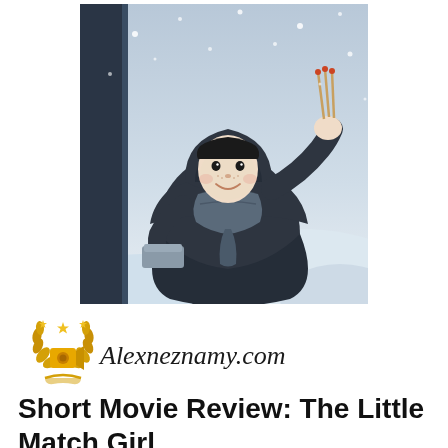[Figure (illustration): Animated illustration of the Little Match Girl character — a young girl wearing a dark hooded cloak and scarf, holding matchsticks aloft with one hand and carrying a small tray/box. She is set against a snowy, blue-grey winter background with snowflakes falling. The art style is a stylized 2D animation.]
[Figure (logo): Alexneznamy.com logo: a gold film award emblem with laurel wreaths, stars, and a movie camera icon on the left, followed by the cursive script text 'Alexneznamy.com' in dark ink.]
Short Movie Review: The Little Match Girl